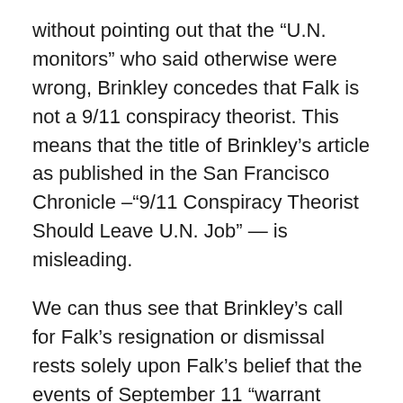without pointing out that the “U.N. monitors” who said otherwise were wrong, Brinkley concedes that Falk is not a 9/11 conspiracy theorist. This means that the title of Brinkley’s article as published in the San Francisco Chronicle –“9/11 Conspiracy Theorist Should Leave U.N. Job” — is misleading.
We can thus see that Brinkley’s call for Falk’s resignation or dismissal rests solely upon Falk’s belief that the events of September 11 “warrant further investigation.” It is, in other words, Falk’s open-mindedness about this issue that makes him unqualified to write about human rights abuses in the Palestinian Territories. How can Brinkley justify such a claim?
Brinkley continues his argument by approvingly quoting Hillel Neuer, the director of UN Watch — one of the “U.N.